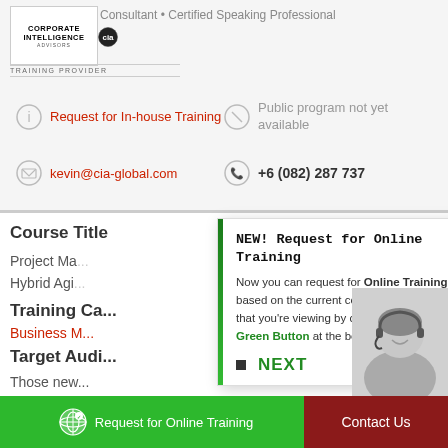[Figure (logo): Corporate Intelligence Advisors logo with circular 'cia' icon]
Consultant • Certified Speaking Professional
TRAINING PROVIDER
Request for In-house Training
Public program not yet available
kevin@cia-global.com
+6 (082) 287 737
Course Title
Project Ma... through
Hybrid Agi...
Training Ca...
Business M...
Target Audi...
Those new...
workshop. B...
practitione...
NEW! Request for Online Training
Now you can request for Online Training based on the current course content page that you're viewing by clicking on the Green Button at the bottom.
NEXT
Request for Online Training
Contact Us